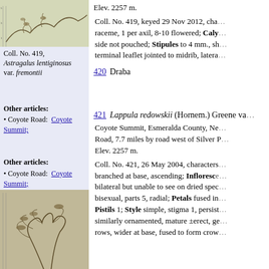[Figure (photo): Herbarium specimen photo of Astragalus lentiginosus var. fremontii, plant with leaves]
Coll. No. 419, Astragalus lentiginosus var. fremontii
Other articles:
• Coyote Road: Coyote Summit;
Elev. 2257 m.
Coll. No. 419, keyed 29 Nov 2012, cha... raceme, 1 per axil, 8-10 flowered; Calyx... side not pouched; Stipules to 4 mm., sh... terminal leaflet jointed to midrib, latera...
420   Draba
Other articles:
• Coyote Road: Coyote Summit;
[Figure (photo): Herbarium specimen photo of Lappula redowskii var. cupulata]
Coll. No. 421, Lappula redowskii var. cupulata
[Figure (photo): Herbarium specimen photo, bottom portion]
421   Lappula redowskii (Hornem.) Greene va...
Coyote Summit, Esmeralda County, Ne... Road, 7.7 miles by road west of Silver P... Elev. 2257 m.
Coll. No. 421, 26 May 2004, characters... branched at base, ascending; Inflorescence... bilateral but unable to see on dried spec... bisexual, parts 5, radial; Petals fused in... Pistils 1; Style simple, stigma 1, persist... similarly ornamented, mature ±erect, ge... rows, wider at base, fused to form crow...